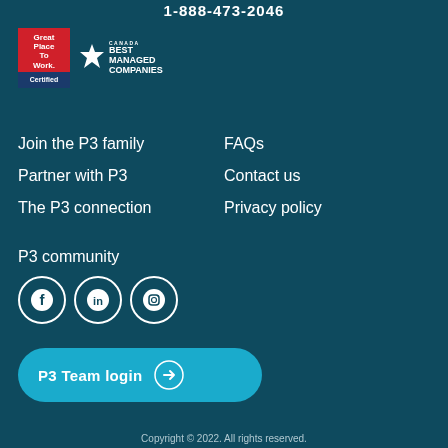1-888-473-2046
[Figure (logo): Great Place To Work Certified badge (red and blue) and Canada Best Managed Companies badge (maple leaf logo with text)]
Join the P3 family
FAQs
Partner with P3
Contact us
The P3 connection
Privacy policy
P3 community
[Figure (illustration): Three social media icons: Facebook (f), LinkedIn (in), Instagram (camera)]
[Figure (other): P3 Team login button with arrow icon]
Copyright © 2022. All rights reserved.